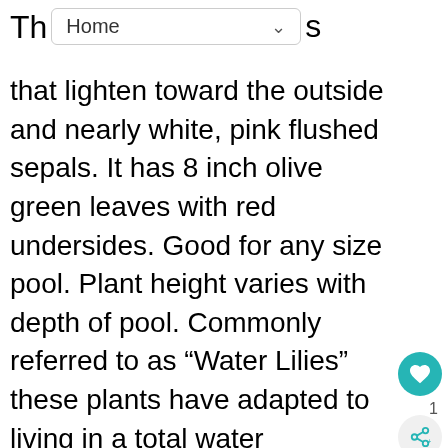Th Home ∨ s
that lighten toward the outside and nearly white, pink flushed sepals. It has 8 inch olive green leaves with red undersides. Good for any size pool. Plant height varies with depth of pool. Commonly referred to as “Water Lilies” these plants have adapted to living in a total water environment. The leaves of these plants are individually supported on leaf stalks called petioles. Water Lily blossoms vary greatly in color and size. They enjoy neutral to alkaline water and grow best in full sun. Planting should be done in water no cooler than 75 degrees F. If the water is too cool the plant will enter a dormant state.